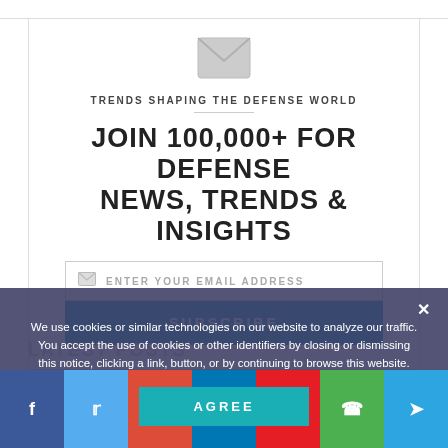[Figure (illustration): Envelope icon in gray]
TRENDS SHAPING THE DEFENSE WORLD
JOIN 100,000+ FOR DEFENSE NEWS, TRENDS & INSIGHTS
ENTER YOUR EMAIL ADDRESS
SUBSCRIBE
LATEST POSTS
We use cookies or similar technologies on our website to analyze our traffic. You accept the use of cookies or other identifiers by closing or dismissing this notice, clicking a link, button, or by continuing to browse this website.
AGREE